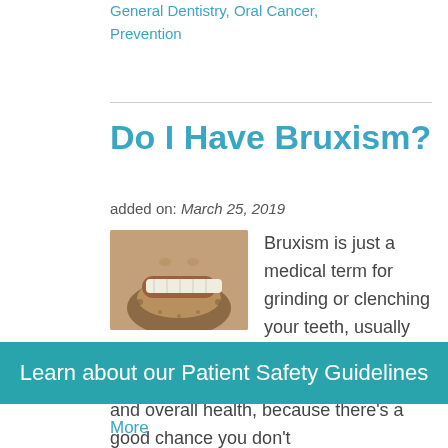Posted in: General Dentistry, Oral Cancer, Prevention
Do I Have Bruxism?
added on: March 25, 2019
[Figure (photo): Close-up photo of a man's lower face showing teeth and beard, smiling or clenching teeth]
Bruxism is just a medical term for grinding or clenching your teeth, usually while you're asleep. That's what makes teeth grinding hazardous to your oral and overall health, because there's a good chance you don't
Learn about our Patient Safety Guidelines
More